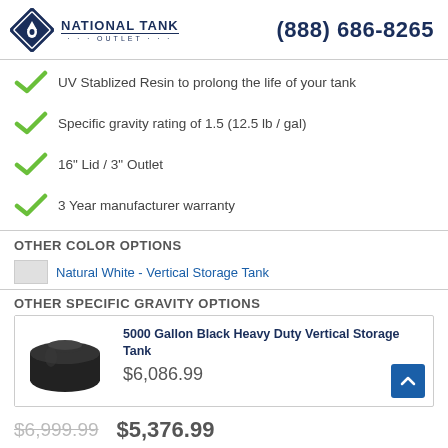[Figure (logo): National Tank Outlet logo with diamond shape and phone number (888) 686-8265]
UV Stablized Resin to prolong the life of your tank
Specific gravity rating of 1.5 (12.5 lb / gal)
16" Lid / 3" Outlet
3 Year manufacturer warranty
OTHER COLOR OPTIONS
Natural White - Vertical Storage Tank
OTHER SPECIFIC GRAVITY OPTIONS
5000 Gallon Black Heavy Duty Vertical Storage Tank
$6,086.99
$6,999.99  $5,376.99